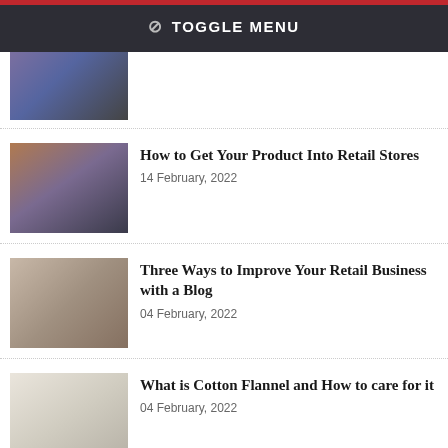⊘ TOGGLE MENU
[Figure (photo): Partial view of a person in black shirt, cropped at top]
[Figure (photo): Clothing items on hangers in a store]
How to Get Your Product Into Retail Stores
14 February, 2022
[Figure (photo): Asian woman looking down, working]
Three Ways to Improve Your Retail Business with a Blog
04 February, 2022
[Figure (photo): White bedding and pillows on a bed]
What is Cotton Flannel and How to care for it
04 February, 2022
[Figure (photo): Exhibition hall interior]
TEXTAILOR EXPO 2022 - International exhibition for